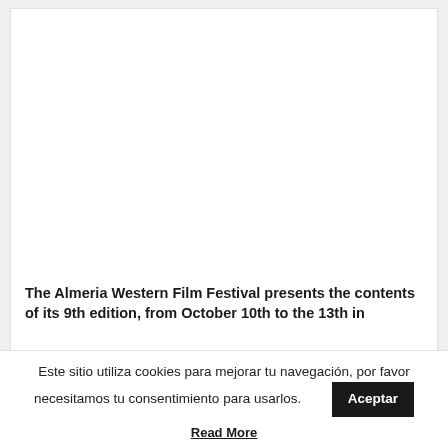[Figure (photo): White/blank image area at top of article card]
The Almeria Western Film Festival presents the contents of its 9th edition, from October 10th to the 13th in
Este sitio utiliza cookies para mejorar tu navegación, por favor necesitamos tu consentimiento para usarlos.
Aceptar
Read More